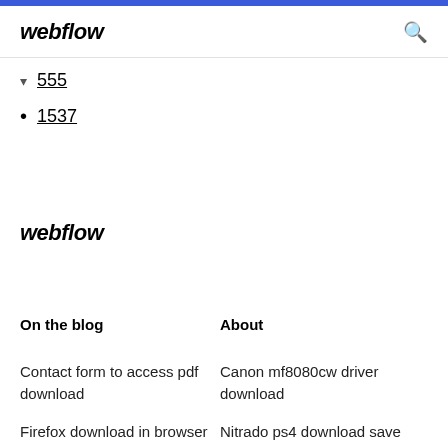webflow
555
1537
webflow
On the blog
About
Contact form to access pdf download
Canon mf8080cw driver download
Firefox download in browser
Nitrado ps4 download save gam